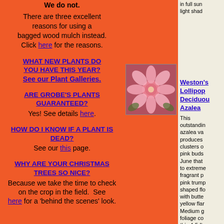We do not.
There are three excellent reasons for using a bagged wood mulch instead. Click here for the reasons.
WHAT NEW PLANTS DO YOU HAVE THIS YEAR? See our Plant Galleries.
ARE GROBE'S PLANTS GUARANTEED? Yes! See details here.
HOW DO I KNOW IF A PLANT IS DEAD? See our this page.
WHY ARE YOUR CHRISTMAS TREES SO NICE? Because we take the time to check on the crop in the field. See here for a 'behind the scenes' look.
[Figure (photo): Photo of pink Weston's Lollipop Deciduous Azalea flowers with multiple layered pink petals]
Weston's Lollipop Deciduous Azalea This outstanding azalea variety produces clusters of pink buds in June that to extremely fragrant pink trumpet-shaped flowers with butter yellow flares. Medium green foliage colors this 4-5 ft...